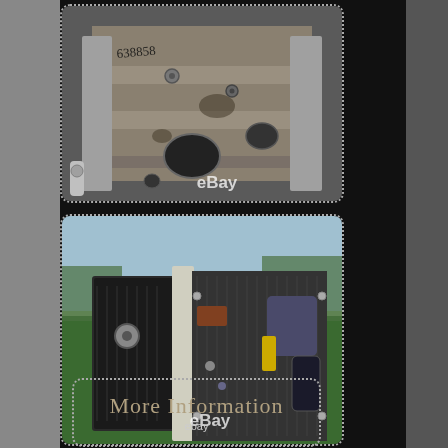[Figure (photo): Close-up photograph of a corroded, dusty metal mechanical component or hardware part, showing knobs, holes, and metal surfaces with dirt and wear. An eBay watermark is visible.]
[Figure (photo): Photograph of an old electronic equipment chassis/amplifier opened up outdoors on grass, showing internal components including transformers, capacitors, and wiring. An eBay watermark is visible.]
More Information
ebay